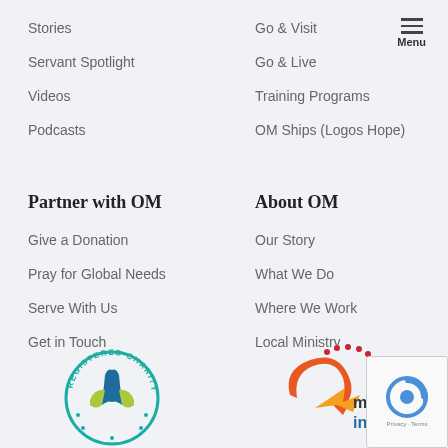Stories
Servant Spotlight
Videos
Podcasts
Go & Visit
Go & Live
Training Programs
OM Ships (Logos Hope)
Menu
Partner with OM
About OM
Give a Donation
Pray for Global Needs
Serve With Us
Get in Touch
Our Story
What We Do
Where We Work
Local Ministry
[Figure (logo): Registered Charity circular badge with teal border and colored ribbon design]
[Figure (logo): Mission Interlink logo with red/orange arrow and dots]
[Figure (other): reCAPTCHA verification widget with Google logo]